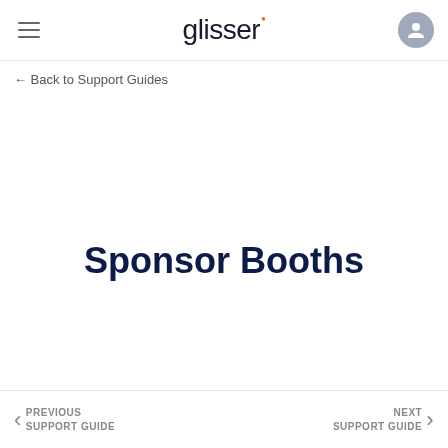glisser
← Back to Support Guides
Sponsor Booths
PREVIOUS SUPPORT GUIDE   NEXT SUPPORT GUIDE